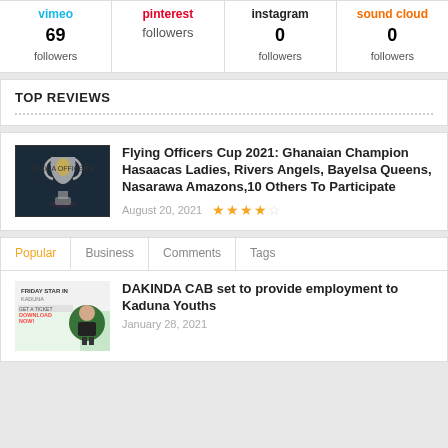| vimeo | pinterest | instagram | sound cloud |
| --- | --- | --- | --- |
| 69 followers | followers | 0 followers | 0 followers |
TOP REVIEWS
Flying Officers Cup 2021: Ghanaian Champion Hasaacas Ladies, Rivers Angels, Bayelsa Queens, Nasarawa Amazons,10 Others To Participate
August 20, 2021  ★★★★☆
Popular  Business  Comments  Tags
DAKINDA CAB set to provide employment to Kaduna Youths
January 28, 2021